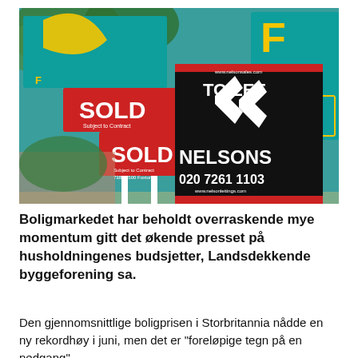[Figure (photo): Photo of real estate agent signs including red 'SOLD' signs, a black 'TO LET NELSONS' sign with phone number 020 7261 1103, and teal Foxtons 'TO LET' signs with yellow logo, on white poles in front of trees and buildings.]
Boligmarkedet har beholdt overraskende mye momentum gitt det økende presset på husholdningenes budsjetter, Landsdekkende byggeforening sa.
Den gjennomsnittlige boligprisen i Storbritannia nådde en ny rekordhøy i juni, men det er "foreløpige tegn på en nedgang",